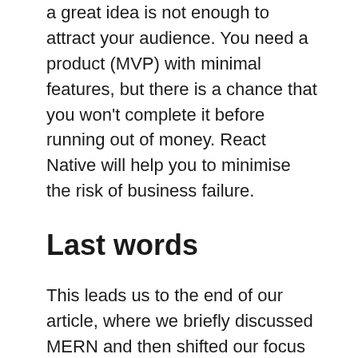a great idea is not enough to attract your audience. You need a product (MVP) with minimal features, but there is a chance that you won't complete it before running out of money. React Native will help you to minimise the risk of business failure.
Last words
This leads us to the end of our article, where we briefly discussed MERN and then shifted our focus on the benefits and popularity of MERN. To take your startup to the next level and boost future growth, you require a solid set of skillset that fulfil